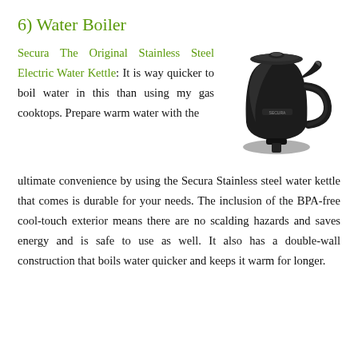6) Water Boiler
Secura The Original Stainless Steel Electric Water Kettle: It is way quicker to boil water in this than using my gas cooktops. Prepare warm water with the ultimate convenience by using the Secura Stainless steel water kettle that comes is durable for your needs. The inclusion of the BPA-free cool-touch exterior means there are no scalding hazards and saves energy and is safe to use as well. It also has a double-wall construction that boils water quicker and keeps it warm for longer.
[Figure (photo): Black Secura electric water kettle with handle and spout, on a white background]